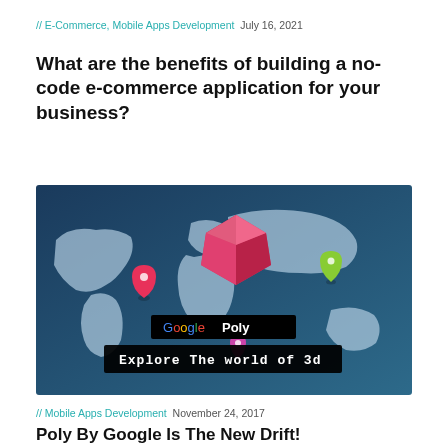// E-Commerce, Mobile Apps Development   July 16, 2021
What are the benefits of building a no-code e-commerce application for your business?
[Figure (illustration): A world map graphic with location pins and a pink 3D gem shape in the center. Text overlays read 'Google Poly' and 'Explore The world of 3d' on black bars.]
// Mobile Apps Development   November 24, 2017
Poly By Google Is The New Drift!